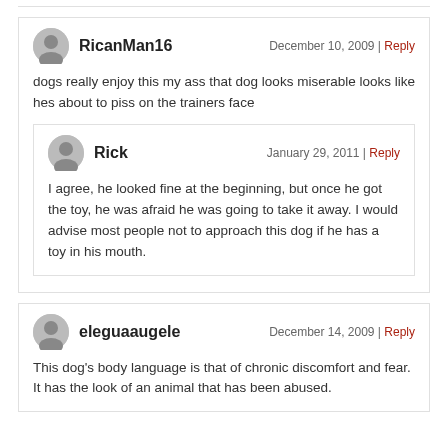RicanMan16 — December 10, 2009 | Reply
dogs really enjoy this my ass that dog looks miserable looks like hes about to piss on the trainers face
Rick — January 29, 2011 | Reply
I agree, he looked fine at the beginning, but once he got the toy, he was afraid he was going to take it away. I would advise most people not to approach this dog if he has a toy in his mouth.
eleguaaugele — December 14, 2009 | Reply
This dog's body language is that of chronic discomfort and fear. It has the look of an animal that has been abused.